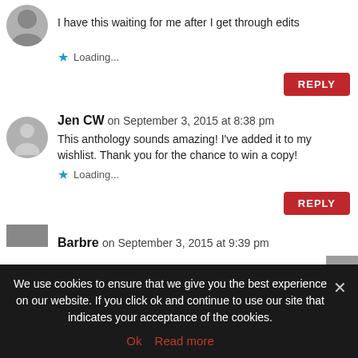I have this waiting for me after I get through edits
Loading...
REPLY
Jen CW on September 3, 2015 at 8:38 pm
This anthology sounds amazing! I've added it to my wishlist. Thank you for the chance to win a copy!
Loading...
REPLY
Barbre on September 3, 2015 at 9:39 pm
We use cookies to ensure that we give you the best experience on our website. If you click ok and continue to use our site that indicates your acceptance of the cookies.
Ok  Read more